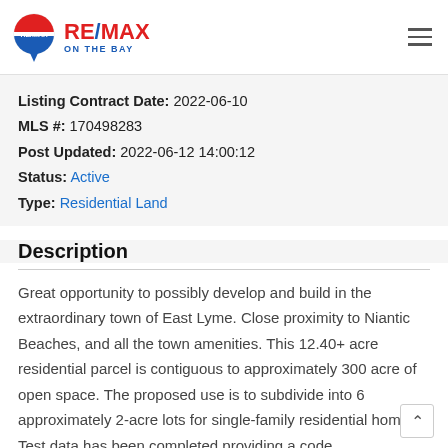[Figure (logo): RE/MAX ON THE BAY logo with balloon icon and hamburger menu]
Listing Contract Date: 2022-06-10
MLS #: 170498283
Post Updated: 2022-06-12 14:00:12
Status: Active
Type: Residential Land
Description
Great opportunity to possibly develop and build in the extraordinary town of East Lyme. Close proximity to Niantic Beaches, and all the town amenities. This 12.40+ acre residential parcel is contiguous to approximately 300 acre of open space. The proposed use is to subdivide into 6 approximately 2-acre lots for single-family residential homes. Test data has been completed providing a code